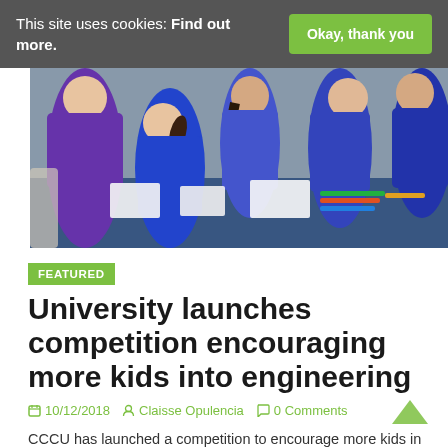This site uses cookies: Find out more.
Okay, thank you
[Figure (photo): Children in blue school uniforms sitting around a table working on papers and crafts, with one child in a purple hoodie on the left.]
FEATURED
University launches competition encouraging more kids into engineering
10/12/2018   Claisse Opulencia   0 Comments
CCCU has launched a competition to encourage more kids in the South East to go into engineering.